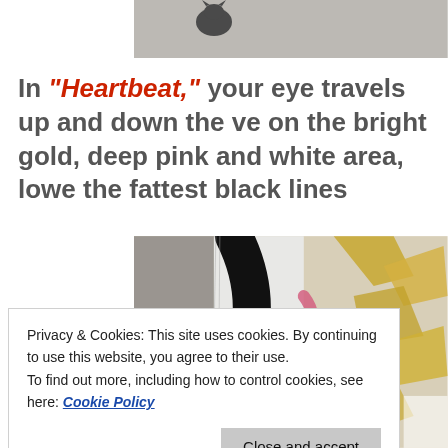[Figure (photo): Partial view of a cat silhouette on a grey background at the top of the page]
In “Heartbeat,” your eye travels up and down the ve on the bright gold, deep pink and white area, lowe the fattest black lines
[Figure (photo): Abstract painting with black, white, gold/yellow, and pink brushstrokes on canvas]
•
Privacy & Cookies: This site uses cookies. By continuing to use this website, you agree to their use.
To find out more, including how to control cookies, see here: Cookie Policy